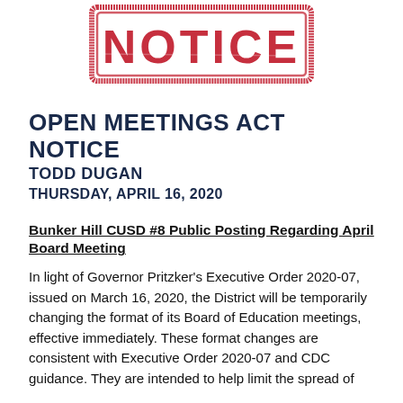[Figure (illustration): Red rubber stamp image with the word NOTICE in bold red capital letters inside a rectangular border with distressed/stamp effect]
OPEN MEETINGS ACT NOTICE
TODD DUGAN
THURSDAY, APRIL 16, 2020
Bunker Hill CUSD #8 Public Posting Regarding April Board Meeting
In light of Governor Pritzker's Executive Order 2020-07, issued on March 16, 2020, the District will be temporarily changing the format of its Board of Education meetings, effective immediately. These format changes are consistent with Executive Order 2020-07 and CDC guidance. They are intended to help limit the spread of